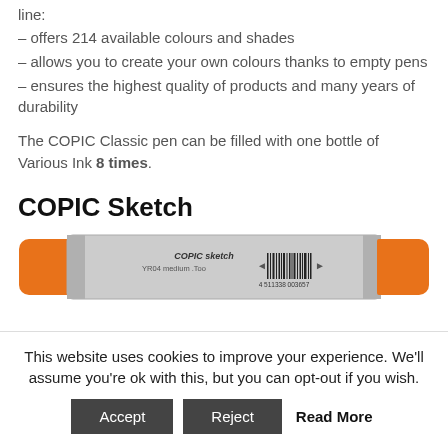line:
– offers 214 available colours and shades
– allows you to create your own colours thanks to empty pens
– ensures the highest quality of products and many years of durability
The COPIC Classic pen can be filled with one bottle of Various Ink 8 times.
COPIC Sketch
[Figure (photo): A COPIC Sketch marker pen with orange caps on both ends and a gray body, showing the label 'COPIC sketch YR04 medium .Too' and a barcode.]
This website uses cookies to improve your experience. We'll assume you're ok with this, but you can opt-out if you wish.
Accept  Reject  Read More